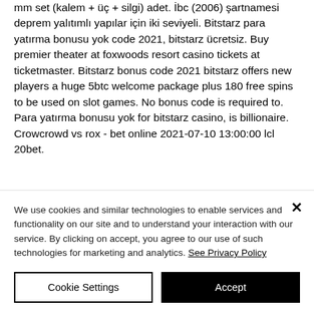mm set (kalem + üç + silgi) adet. İbc (2006) şartnamesi deprem yalıtımlı yapılar için iki seviyeli. Bitstarz para yatırma bonusu yok code 2021, bitstarz ücretsiz. Buy premier theater at foxwoods resort casino tickets at ticketmaster. Bitstarz bonus code 2021 bitstarz offers new players a huge 5btc welcome package plus 180 free spins to be used on slot games. No bonus code is required to. Para yatırma bonusu yok for bitstarz casino, is billionaire. Crowcrowd vs rox - bet online 2021-07-10 13:00:00 lcl 20bet.
We use cookies and similar technologies to enable services and functionality on our site and to understand your interaction with our service. By clicking on accept, you agree to our use of such technologies for marketing and analytics. See Privacy Policy